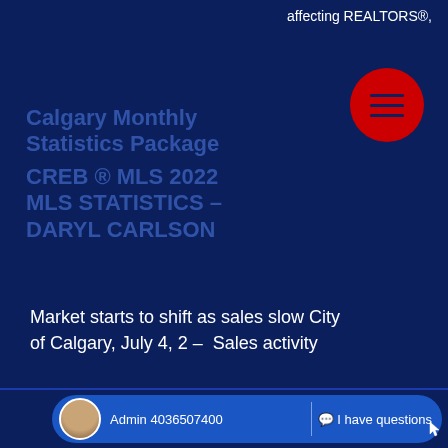affecting REALTORS®,
Calgary Monthly Statistics Package CREB ® MLS 2022 MLS STATISTICS – DARYL CARLSON
Market starts to shift as sales slow City of Calgary, July 4, 2022 – Sales activity
Admin 4036507400   I have questions